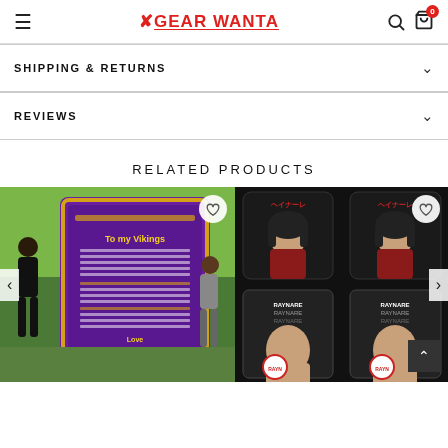GEAR WANTA
SHIPPING & RETURNS
REVIEWS
RELATED PRODUCTS
[Figure (photo): Minnesota Vikings themed quilt/blanket displayed outdoors with two women posing next to it]
[Figure (photo): Anime themed car mats showing a female anime character in 4 panels (2x2 grid)]